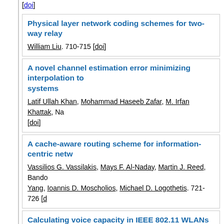[doi]
Physical layer network coding schemes for two-way relay
William Liu. 710-715 [doi]
A novel channel estimation error minimizing interpolation to systems
Latif Ullah Khan, Mohammad Haseeb Zafar, M. Irfan Khattak, Na... [doi]
A cache-aware routing scheme for information-centric netw...
Vassilios G. Vassilakis, Mays F. Al-Naday, Martin J. Reed, Bando... Yang, Ioannis D. Moscholios, Michael D. Logothetis. 721-726 [d...]
Calculating voice capacity in IEEE 802.11 WLANs under bas... traffic
Nikolaos G. Kalathas, Vasileios Vitsas, Dimitris Kleftouris. 727-7
A group secure key generation and transfer protocol based...